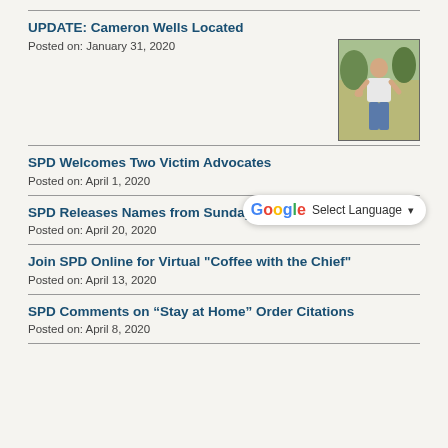UPDATE: Cameron Wells Located
Posted on: January 31, 2020
[Figure (photo): Photo of Cameron Wells, a person standing outdoors wearing a white t-shirt and jeans]
[Figure (screenshot): Google Translate Select Language widget]
SPD Welcomes Two Victim Advocates
Posted on: April 1, 2020
SPD Releases Names from Sunday Night Homicide
Posted on: April 20, 2020
Join SPD Online for Virtual "Coffee with the Chief"
Posted on: April 13, 2020
SPD Comments on “Stay at Home” Order Citations
Posted on: April 8, 2020